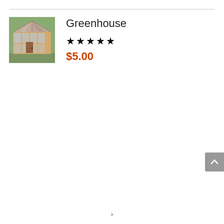[Figure (photo): Photograph of a wooden greenhouse structure with glass panels and a door]
Greenhouse
★★★★★
$5.00